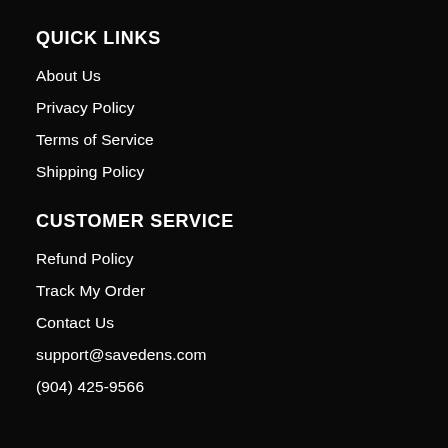QUICK LINKS
About Us
Privacy Policy
Terms of Service
Shipping Policy
CUSTOMER SERVICE
Refund Policy
Track My Order
Contact Us
support@savedens.com
(904) 425-9566